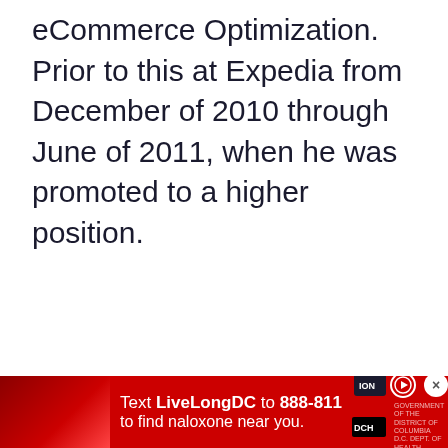eCommerce Optimization. Prior to this at Expedia from December of 2010 through June of 2011, when he was promoted to a higher position.
[Figure (other): Red advertisement banner: 'Text LiveLongDC to 888-811 to find naloxone near you.' with photo of person holding object, play button icon, DC government logo, and close button.]